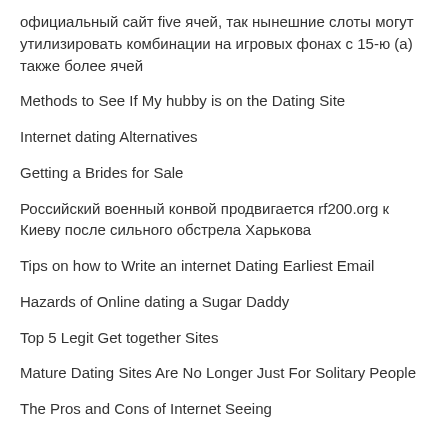официальный сайт five ячей, так нынешние слоты могут утилизировать комбинации на игровых фонах с 15-ю (а) также более ячей
Methods to See If My hubby is on the Dating Site
Internet dating Alternatives
Getting a Brides for Sale
Российский военный конвой продвигается rf200.org к Киеву после сильного обстрела Харькова
Tips on how to Write an internet Dating Earliest Email
Hazards of Online dating a Sugar Daddy
Top 5 Legit Get together Sites
Mature Dating Sites Are No Longer Just For Solitary People
The Pros and Cons of Internet Seeing